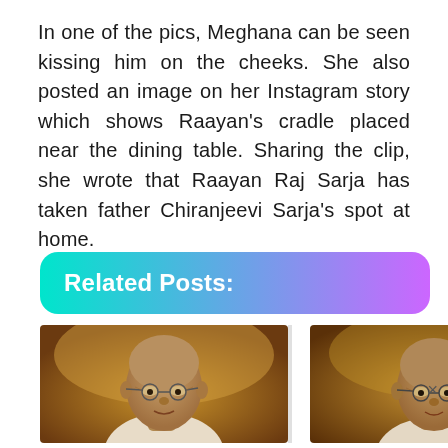In one of the pics, Meghana can be seen kissing him on the cheeks. She also posted an image on her Instagram story which shows Raayan's cradle placed near the dining table. Sharing the clip, she wrote that Raayan Raj Sarja has taken father Chiranjeevi Sarja's spot at home.
Related Posts:
[Figure (photo): Two thumbnail images side by side showing a portrait of an elderly bald man with round glasses (resembling Mahatma Gandhi), with a warm sepia/brown tone background]
×